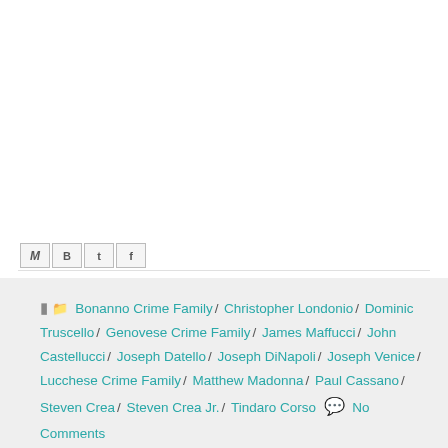[Figure (other): White blank area at top of page (image placeholder or empty content area)]
Share icons: M (Gmail), B (Blogger), t (Twitter), f (Facebook)
Bonanno Crime Family / Christopher Londonio / Dominic Truscello / Genovese Crime Family / James Maffucci / John Castellucci / Joseph Datello / Joseph DiNapoli / Joseph Venice / Lucchese Crime Family / Matthew Madonna / Paul Cassano / Steven Crea / Steven Crea Jr. / Tindaro Corso  No Comments